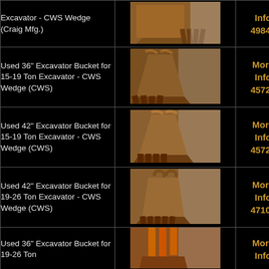| Description | Image | Link |
| --- | --- | --- |
| Excavator - CWS Wedge (Craig Mfg.) | [image] | Info
49843 |
| Used 36" Excavator Bucket for 15-19 Ton Excavator - CWS Wedge (CWS) | [image] | More
Info
45727 |
| Used 42" Excavator Bucket for 15-19 Ton Excavator - CWS Wedge (CWS) | [image] | More
Info
45726 |
| Used 42" Excavator Bucket for 19-26 Ton Excavator - CWS Wedge (CWS) | [image] | More
Info
47107 |
| Used 36" Excavator Bucket for 19-26 Ton | [image] | More
Info |